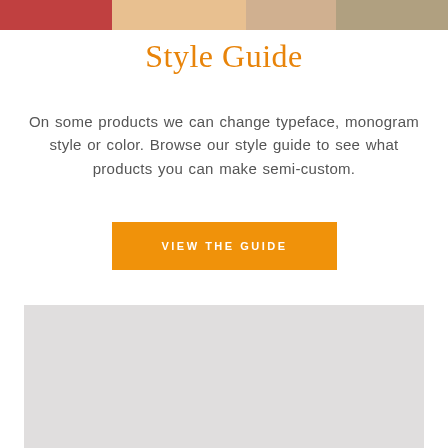[Figure (photo): Top banner image showing partial product/lifestyle photo with warm red, orange, and tan tones]
Style Guide
On some products we can change typeface, monogram style or color. Browse our style guide to see what products you can make semi-custom.
VIEW THE GUIDE
[Figure (photo): Gray rectangular placeholder image block]